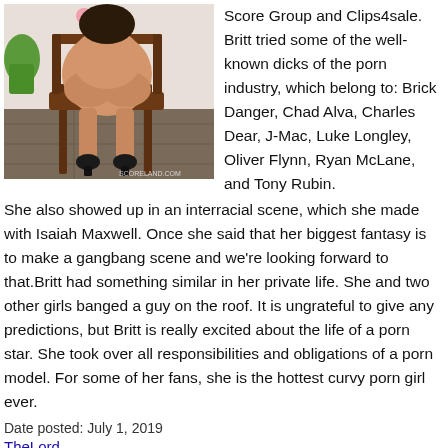[Figure (photo): Photo of a person sitting on a wooden chair viewed from behind, on a tiled floor with plants in the background.]
Score Group and Clips4sale. Britt tried some of the well-known dicks of the porn industry, which belong to: Brick Danger, Chad Alva, Charles Dear, J-Mac, Luke Longley, Oliver Flynn, Ryan McLane, and Tony Rubin.
She also showed up in an interracial scene, which she made with Isaiah Maxwell. Once she said that her biggest fantasy is to make a gangbang scene and we're looking forward to that.Britt had something similar in her private life. She and two other girls banged a guy on the roof. It is ungrateful to give any predictions, but Britt is really excited about the life of a porn star. She took over all responsibilities and obligations of a porn model. For some of her fans, she is the hottest curvy porn girl ever.
Date posted: July 1, 2019
TheLord